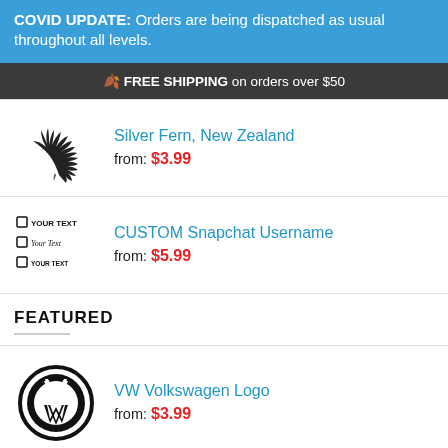COVID UPDATE: Orders are being dispatched as usual throughout all levels.
🍂 FREE SHIPPING on orders over $50
Silver Fern, New Zealand
from: $3.99
CUSTOM Snapchat Username
from: $5.99
FEATURED
VW Volkswagen Logo
from: $3.99